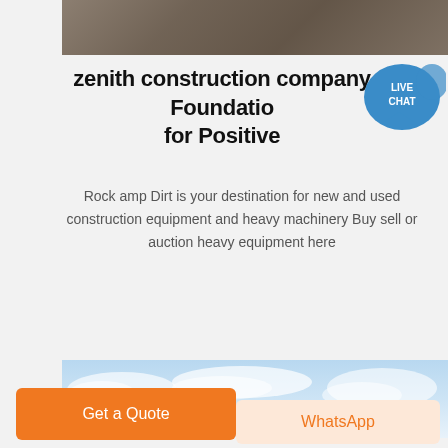[Figure (photo): Top portion of construction machinery, dark metallic equipment close-up]
zenith construction company Foundation for Positive
[Figure (infographic): Live Chat speech bubble icon in blue]
Rock amp Dirt is your destination for new and used construction equipment and heavy machinery Buy sell or auction heavy equipment here
[Figure (photo): Blue sky with white clouds]
Get a Quote
WhatsApp